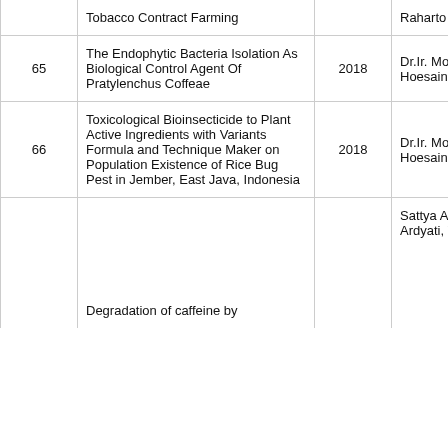| No | Title | Year | Author |
| --- | --- | --- | --- |
|  | Tobacco Contract Farming |  | Raharto |
| 65 | The Endophytic Bacteria Isolation As Biological Control Agent Of Pratylenchus Coffeae | 2018 | Dr.Ir. Mohammad Hoesain, M.P. |
| 66 | Toxicological Bioinsecticide to Plant Active Ingredients with Variants Formula and Technique Maker on Population Existence of Rice Bug Pest in Jember, East Java, Indonesia | 2018 | Dr.Ir. Mohammad Hoesain, M.P. |
|  | Degradation of caffeine by |  | Sattya Arimurti, Tri Ardyati, Yulia |